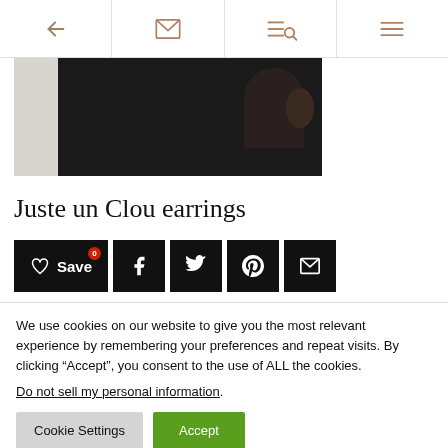Navigation bar with back arrow, message icon, search/list icon, and menu icon
[Figure (photo): Partial photo of a person wearing dark clothing and jewelry, cropped view of shoulder and ear area]
Juste un Clou earrings
Save (with badge 0), Facebook share, Twitter share, Pinterest share, Email share buttons
We use cookies on our website to give you the most relevant experience by remembering your preferences and repeat visits. By clicking “Accept”, you consent to the use of ALL the cookies.
Do not sell my personal information.
Cookie Settings  Accept